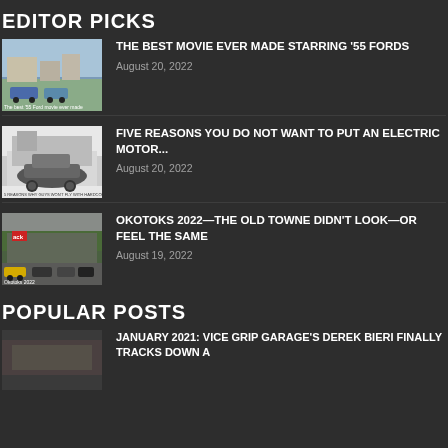EDITOR PICKS
THE BEST MOVIE EVER MADE STARRING '55 FORDS — August 20, 2022
FIVE REASONS YOU DO NOT WANT TO PUT AN ELECTRIC MOTOR... — August 20, 2022
OKOTOKS 2022—THE OLD TOWNE DIDN'T LOOK—OR FEEL THE SAME — August 19, 2022
POPULAR POSTS
JANUARY 2021: VICE GRIP GARAGE'S DEREK BIERI FINALLY TRACKS DOWN A